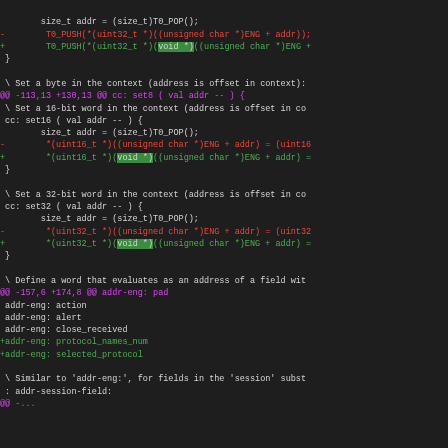[Figure (screenshot): Code diff view showing changes to a Forth/C mixed source file. Dark background with colored lines: red for removed lines, green for added lines, magenta for diff hunk headers. The diff shows changes related to adding (void *) casts in set8, set16, set32 functions and adding addr-eng: protocol_names_num and selected_protocol.]